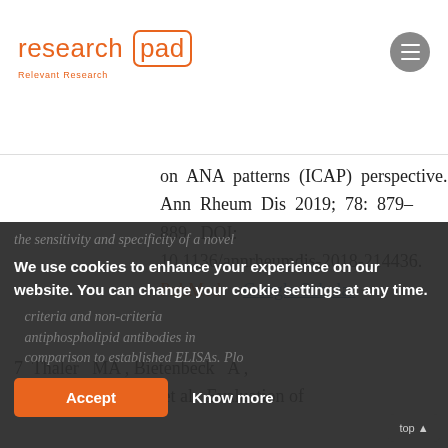research pad — Relevant Research
on ANA patterns (ICAP) perspective. Ann Rheum Dis 2019; 78: 879–889. DOI: 10.1136/annrheumdis-2018-214436.
7 Thaler MA , Bietenbeck A , Steigerwald U , , et al . Evaluation of the sensitivity and specificity of a novel
We use cookies to enhance your experience on our website. You can change your cookie settings at any time.
criteria and non-criteria antiphospholipid antibodies in comparison to established ELISAs. Plo